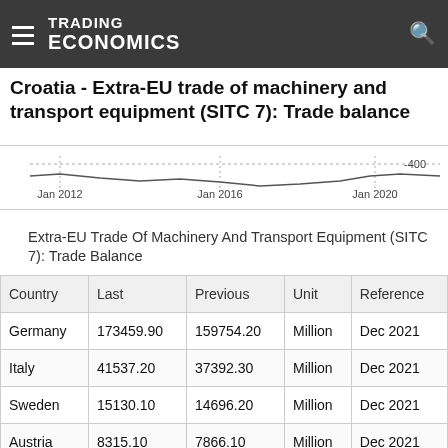TRADING ECONOMICS
Croatia - Extra-EU trade of machinery and transport equipment (SITC 7): Trade balance
[Figure (continuous-plot): Line chart showing Croatia Extra-EU trade balance of machinery and transport equipment (SITC 7) from Jan 2012 to Jan 2020, with y-axis value of -400 visible]
Extra-EU Trade Of Machinery And Transport Equipment (SITC 7): Trade Balance
| Country | Last | Previous | Unit | Reference |
| --- | --- | --- | --- | --- |
| Germany | 173459.90 | 159754.20 | Million | Dec 2021 |
| Italy | 41537.20 | 37392.30 | Million | Dec 2021 |
| Sweden | 15130.10 | 14696.20 | Million | Dec 2021 |
| Austria | 8315.10 | 7866.10 | Million | Dec 2021 |
| Denmark | 5147.70 | 4180.00 | Million | Dec 2021 |
| Finland | 4952.60 | 5020.30 | Million | Dec 2021 |